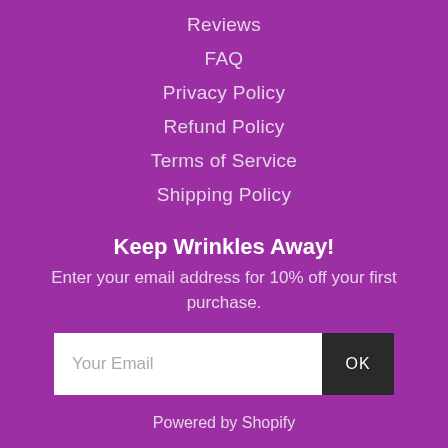Reviews
FAQ
Privacy Policy
Refund Policy
Terms of Service
Shipping Policy
Keep Wrinkles Away!
Enter your email address for 10% off your first purchase.
Your Email
Powered by Shopify